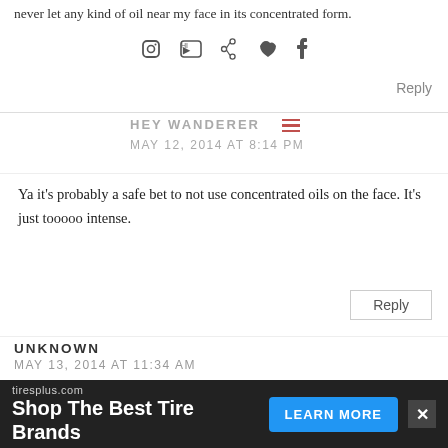never let any kind of oil near my face in its concentrated form.
[Figure (infographic): Social media icons: Instagram, YouTube, Pinterest, Heart, Facebook]
Reply
HEY WANDERER
MAY 12, 2014 AT 8:14 PM
Ya it's probably a safe bet to not use concentrated oils on the face. It's just tooooo intense.
Reply
UNKNOWN
MAY 13, 2014 AT 11:34 AM
Sorry, but thanks for sharing such a funny story!! I do mix oregano oil with echinacea in a little shot glass with water when colds start. Also clove oil is really good for all that stuff too and my kids will take clove oil before oregano. PS - love the new blog and direction you guys are going. Refreshing and inspiring!
[Figure (infographic): Advertisement bar: tiresplus.com - Shop The Best Tire Brands - LEARN MORE button]